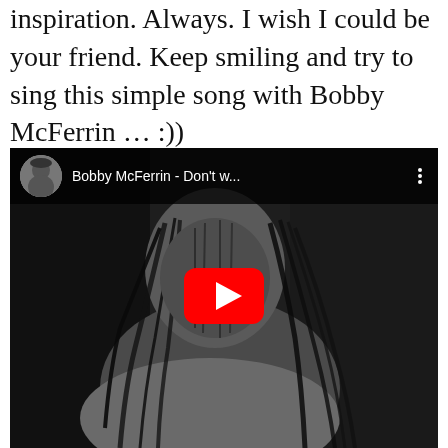inspiration. Always. I wish I could be your friend. Keep smiling and try to sing this simple song with Bobby McFerrin … :))
[Figure (screenshot): Embedded YouTube video player showing Bobby McFerrin - Don't w... with a black and white photo of a man with dreadlocks smiling, a red YouTube play button overlay, and the YouTube top bar with channel avatar, video title, and three-dot menu.]